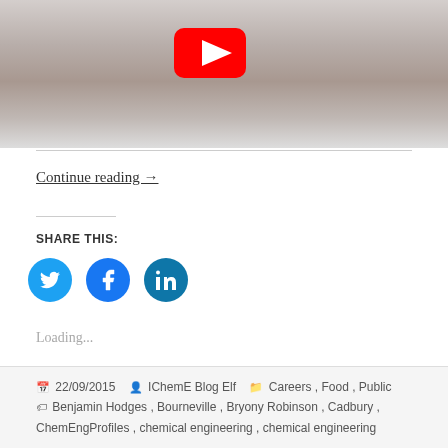[Figure (screenshot): Video thumbnail showing a man in a white shirt with a YouTube play button overlay]
Continue reading →
SHARE THIS:
[Figure (infographic): Three social media share buttons: Twitter, Facebook, LinkedIn]
Loading...
22/09/2015  IChemE Blog Elf  Careers, Food, Public  Benjamin Hodges, Bourneville, Bryony Robinson, Cadbury, ChemEngProfiles, chemical engineering, chemical engineering